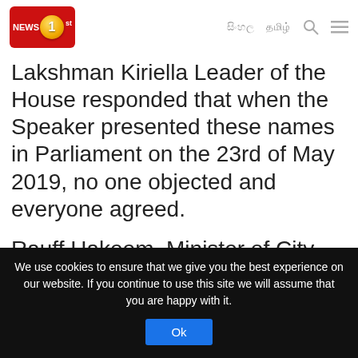NEWS 1st [logo] | සිංහල | தமிழ் | Search | Menu
Lakshman Kiriella Leader of the House responded that when the Speaker presented these names in Parliament on the 23rd of May 2019, no one objected and everyone agreed.
Rauff Hakeem, Minister of City Planning, Water Supply and Higher Education responded that he is sad to see him falsely
We use cookies to ensure that we give you the best experience on our website. If you continue to use this site we will assume that you are happy with it.